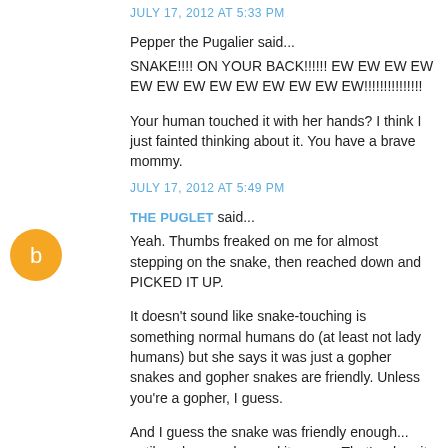JULY 17, 2012 AT 5:33 PM
Pepper the Pugalier said...
SNAKE!!!! ON YOUR BACK!!!!!! EW EW EW EW EW EW EW EW EW EW EW EW EW!!!!!!!!!!!!!!
Your human touched it with her hands? I think I just fainted thinking about it. You have a brave mommy.
JULY 17, 2012 AT 5:49 PM
THE PUGLET said...
[Figure (illustration): Orange circle Blogger avatar icon]
Yeah. Thumbs freaked on me for almost stepping on the snake, then reached down and PICKED IT UP.
It doesn't sound like snake-touching is something normal humans do (at least not lady humans) but she says it was just a gopher snakes and gopher snakes are friendly. Unless you're a gopher, I guess.
And I guess the snake was friendly enough... until my human dropped it on me. That's when it started making a really icky hissy-puffy noise that even freaked her out a little.
Can I have a new human now?